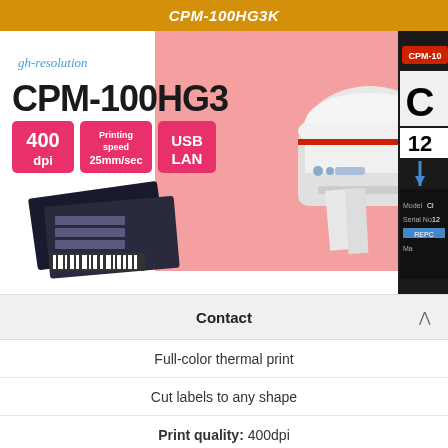CPM-100HG3K
[Figure (photo): Product advertisement image for CPM-100HG3K label printer. Shows product name 'CPM-100HG3 gh-resolution' with pink/salmon background, printer device image, sample printed labels (dark metallic labels with barcodes), and feature badges: 400 dpi, Printing speed 25mm/sec, USB LAN. Partially visible CPM-100 branding on right side with sample label output showing Model/Serial No fields.]
Contact
Full-color thermal print
Cut labels to any shape
Print quality: 400dpi